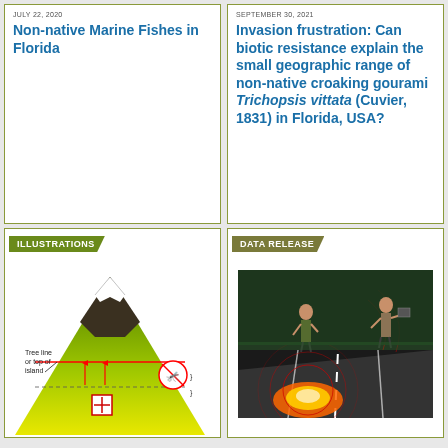JULY 22, 2020
Non-native Marine Fishes in Florida
SEPTEMBER 30, 2021
Invasion frustration: Can biotic resistance explain the small geographic range of non-native croaking gourami Trichopsis vittata (Cuvier, 1831) in Florida, USA?
ILLUSTRATIONS
[Figure (illustration): Diagram of mountain cross-section with tree line or top of island labeled, red horizontal line indicating elevation, green and yellow gradient mountain shape, mosquito warning sign, and a cross marker with arrows]
DATA RELEASE
[Figure (photo): Photo showing two people standing in shallow water/flooding, with fire and dramatic lighting in foreground, and road markings visible]